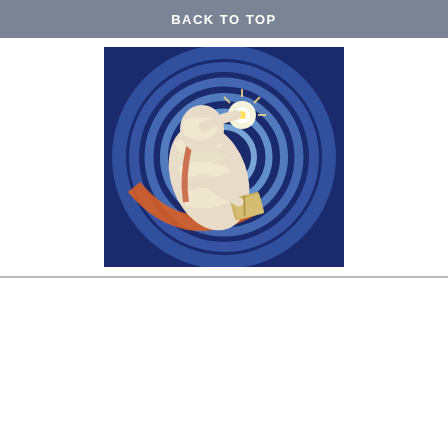BACK TO TOP
[Figure (illustration): Surreal painting of a bandaged/mummy-like figure lying back amid blue swirling circular waves, holding a glowing light and a small book, with orange and white fabric wrappings, blue vortex background]
5D Consciousness
[Figure (illustration): Digital art of a woman lying on a rock with arms raised toward the sky, floating angelic or nature spirits above, blue sky background with glowing ethereal beings and a luminous figure on the right]